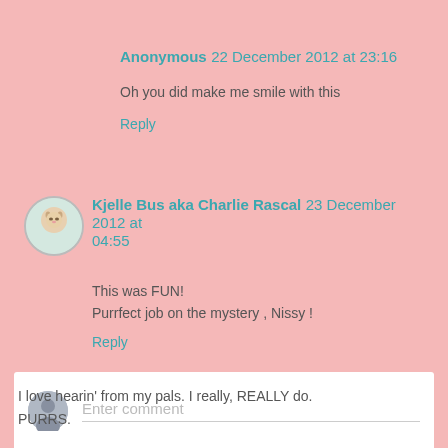Anonymous 22 December 2012 at 23:16
Oh you did make me smile with this
Reply
[Figure (photo): Avatar photo of a cat (Kjelle Bus aka Charlie Rascal)]
Kjelle Bus aka Charlie Rascal 23 December 2012 at 04:55
This was FUN!
Purrfect job on the mystery , Nissy !
Reply
Enter comment
I love hearin' from my pals. I really, REALLY do.
PURRS.